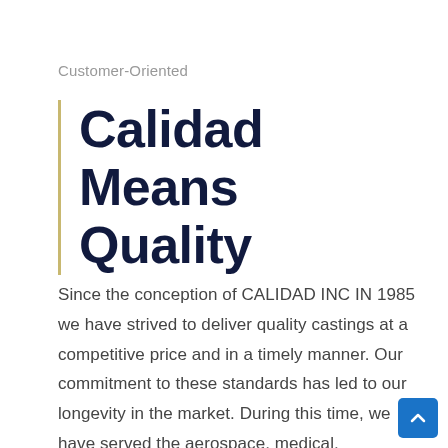Customer-Oriented
Calidad Means Quality
Since the conception of CALIDAD INC IN 1985 we have strived to deliver quality castings at a competitive price and in a timely manner. Our commitment to these standards has led to our longevity in the market. During this time, we have served the aerospace, medical, transportation and commercial markets. Calidad, Inc has been ISO certified since 2001. Currently, we are